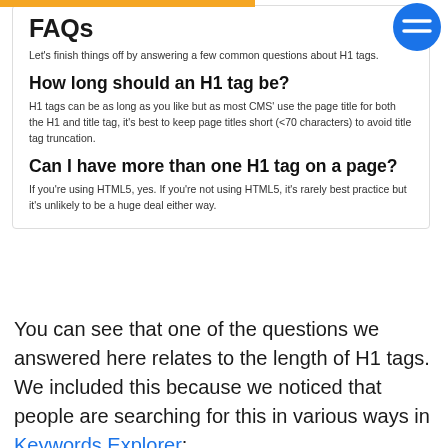FAQs
Let's finish things off by answering a few common questions about H1 tags.
How long should an H1 tag be?
H1 tags can be as long as you like but as most CMS' use the page title for both the H1 and title tag, it's best to keep page titles short (<70 characters) to avoid title tag truncation.
Can I have more than one H1 tag on a page?
If you're using HTML5, yes. If you're not using HTML5, it's rarely best practice but it's unlikely to be a huge deal either way.
You can see that one of the questions we answered here relates to the length of H1 tags. We included this because we noticed that people are searching for this in various ways in Keywords Explorer: